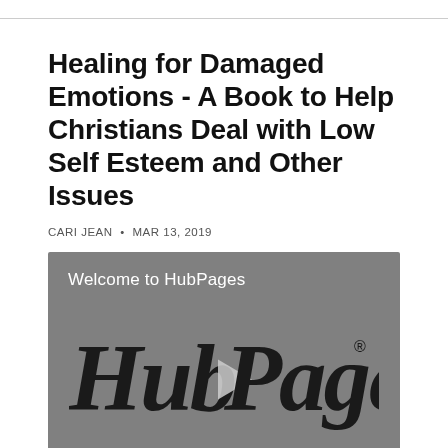Healing for Damaged Emotions - A Book to Help Christians Deal with Low Self Esteem and Other Issues
CARI JEAN • MAR 13, 2019
[Figure (screenshot): Video player thumbnail showing 'Welcome to HubPages' text overlay and HubPages logo with play button on a grey background. Wochit branding in lower left corner.]